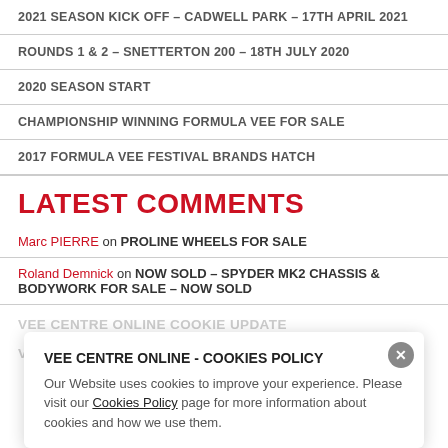2021 SEASON KICK OFF – CADWELL PARK – 17TH APRIL 2021
ROUNDS 1 & 2 – SNETTERTON 200 – 18TH JULY 2020
2020 SEASON START
CHAMPIONSHIP WINNING FORMULA VEE FOR SALE
2017 FORMULA VEE FESTIVAL BRANDS HATCH
LATEST COMMENTS
Marc PIERRE on PROLINE WHEELS FOR SALE
Roland Demnick on NOW SOLD – SPYDER MK2 CHASSIS & BODYWORK FOR SALE – NOW SOLD
VEE CENTRE ONLINE - COOKIES POLICY
Our Website uses cookies to improve your experience. Please visit our Cookies Policy page for more information about cookies and how we use them.